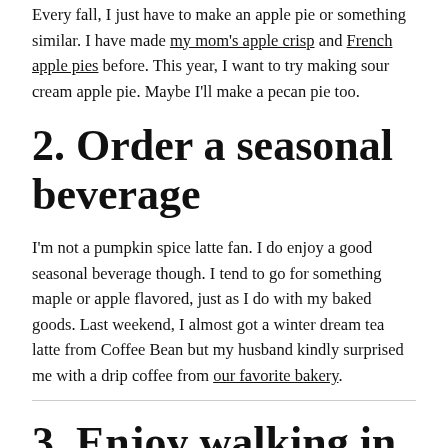Every fall, I just have to make an apple pie or something similar. I have made my mom's apple crisp and French apple pies before. This year, I want to try making sour cream apple pie. Maybe I'll make a pecan pie too.
2. Order a seasonal beverage
I'm not a pumpkin spice latte fan. I do enjoy a good seasonal beverage though. I tend to go for something maple or apple flavored, just as I do with my baked goods. Last weekend, I almost got a winter dream tea latte from Coffee Bean but my husband kindly surprised me with a drip coffee from our favorite bakery.
3. Enjoy walking in the